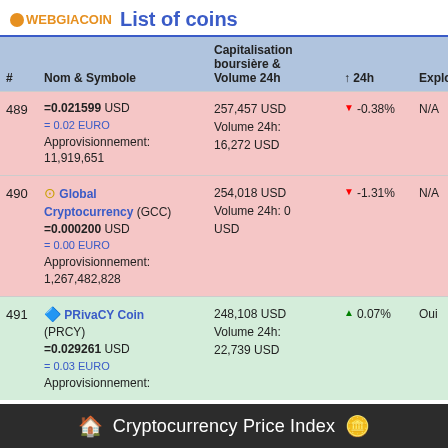WEBGIACOIN List of coins
| # | Nom & Symbole | Capitalisation boursière & Volume 24h | ↑ 24h | Exploitable | Rang |
| --- | --- | --- | --- | --- | --- |
| 489 | =0.021599 USD
= 0.02 EURO
Approvisionnement: 11,919,651 | 257,457 USD
Volume 24h: 16,272 USD | ▼ -0.38% | N/A | 1885 |
| 490 | Global Cryptocurrency (GCC)
=0.000200 USD
= 0.00 EURO
Approvisionnement: 1,267,482,828 | 254,018 USD
Volume 24h: 0 USD | ▼ -1.31% | N/A | 1885 |
| 491 | PRivaCY Coin (PRCY)
=0.029261 USD
= 0.03 EURO
Approvisionnement: | 248,108 USD
Volume 24h: 22,739 USD | ▲ 0.07% | Oui | 1894 |
Cryptocurrency Price Index